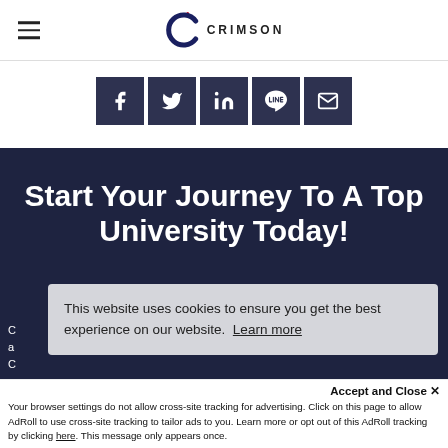[Figure (logo): Crimson Education logo — stylized C with dots above, beside text CRIMSON in capitals]
[Figure (infographic): Row of 5 dark navy social share buttons: Facebook, Twitter, LinkedIn, LINE, Email]
Start Your Journey To A Top University Today!
This website uses cookies to ensure you get the best experience on our website.  Learn more
Accept and Close ✕
Your browser settings do not allow cross-site tracking for advertising. Click on this page to allow AdRoll to use cross-site tracking to tailor ads to you. Learn more or opt out of this AdRoll tracking by clicking here. This message only appears once.